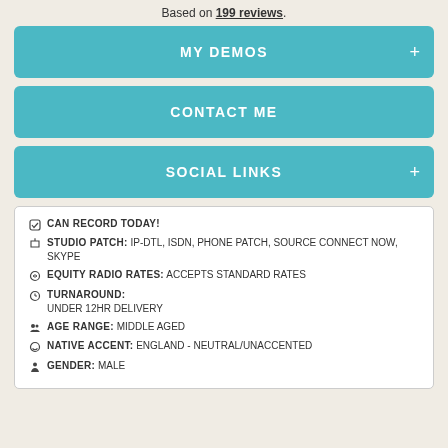Based on 199 reviews.
MY DEMOS
CONTACT ME
SOCIAL LINKS
CAN RECORD TODAY!
STUDIO PATCH: IP-DTL, ISDN, PHONE PATCH, SOURCE CONNECT NOW, SKYPE
EQUITY RADIO RATES: ACCEPTS STANDARD RATES
TURNAROUND: UNDER 12HR DELIVERY
AGE RANGE: MIDDLE AGED
NATIVE ACCENT: ENGLAND - NEUTRAL/UNACCENTED
GENDER: MALE